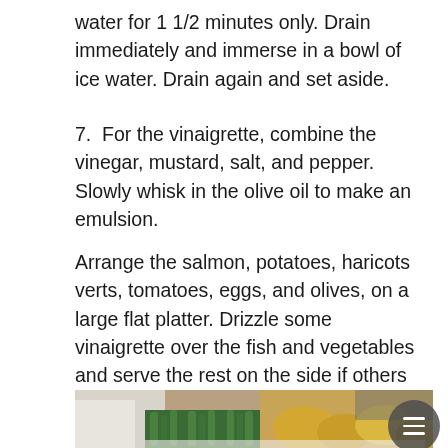water for 1 1/2 minutes only. Drain immediately and immerse in a bowl of ice water. Drain again and set aside.
7.  For the vinaigrette, combine the vinegar, mustard, salt, and pepper. Slowly whisk in the olive oil to make an emulsion.
Arrange the salmon, potatoes, haricots verts, tomatoes, eggs, and olives, on a large flat platter. Drizzle some vinaigrette over the fish and vegetables and serve the rest on the side if others would like more.
[Figure (photo): Photo of a platter with green beans (haricots verts) and potatoes, shot from above at an angle with a blurred background.]